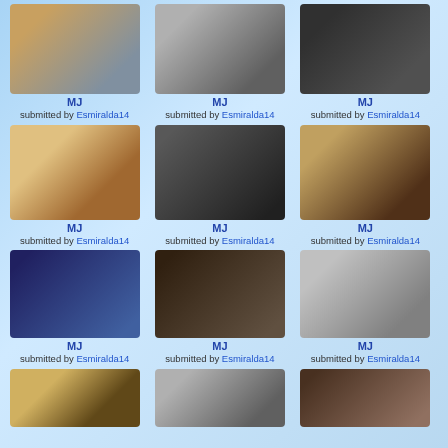[Figure (photo): Photo of MJ - submitted by Esmiralda14]
MJ
submitted by Esmiralda14
[Figure (photo): Photo of MJ - submitted by Esmiralda14]
MJ
submitted by Esmiralda14
[Figure (photo): Photo of MJ - submitted by Esmiralda14]
MJ
submitted by Esmiralda14
[Figure (photo): Photo of MJ with llama - submitted by Esmiralda14]
MJ
submitted by Esmiralda14
[Figure (photo): Black and white photo of MJ - submitted by Esmiralda14]
MJ
submitted by Esmiralda14
[Figure (photo): Photo of MJ in hat - submitted by Esmiralda14]
MJ
submitted by Esmiralda14
[Figure (photo): Photo of MJ performing - red jacket - submitted by Esmiralda14]
MJ
submitted by Esmiralda14
[Figure (photo): Photo of MJ performing - red jacket - submitted by Esmiralda14]
MJ
submitted by Esmiralda14
[Figure (photo): Black and white photo of MJ - submitted by Esmiralda14]
MJ
submitted by Esmiralda14
[Figure (photo): Photo of MJ - submitted by Esmiralda14]
[Figure (photo): Photo of MJ with horse - submitted by Esmiralda14]
[Figure (photo): Photo of MJ - dark scene - submitted by Esmiralda14]